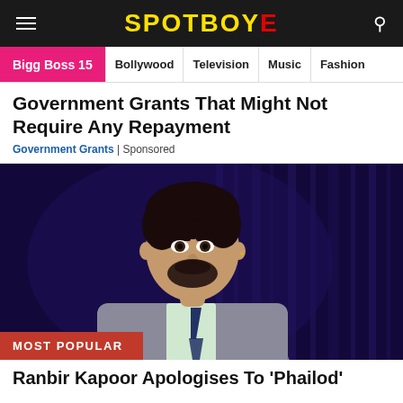SPOTBOYE
Bigg Boss 15 | Bollywood | Television | Music | Fashion
Government Grants That Might Not Require Any Repayment
Government Grants | Sponsored
[Figure (photo): Portrait photo of Ranbir Kapoor in a grey suit with a dark tie, against a dark blue bokeh background. A red 'MOST POPULAR' label appears in the bottom left corner of the image.]
Ranbir Kapoor Apologises To 'Phailod'